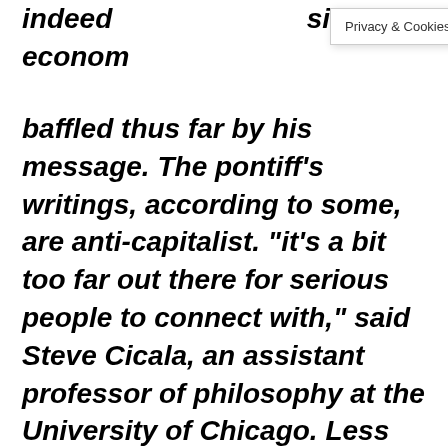indeed [text cut off] sical econom[ics has been] baffled thus far by his message. The pontiff’s writings, according to some, are anti-capitalist. “it’s a bit too far out there for serious people to connect with,” said Steve Cicala, an assistant professor of philosophy at the University of Chicago. Less problematic in the
Privacy & Cookies Policy